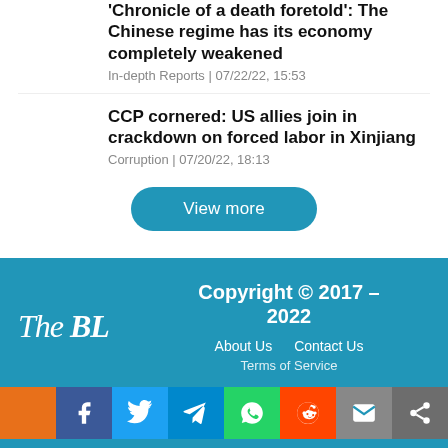'Chronicle of a death foretold': The Chinese regime has its economy completely weakened
In-depth Reports | 07/22/22, 15:53
CCP cornered: US allies join in crackdown on forced labor in Xinjiang
Corruption | 07/20/22, 18:13
View more
The BL  Copyright © 2017 - 2022  About Us  Contact Us  Terms of Service